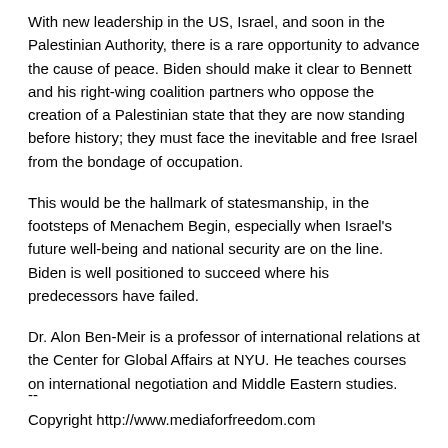With new leadership in the US, Israel, and soon in the Palestinian Authority, there is a rare opportunity to advance the cause of peace. Biden should make it clear to Bennett and his right-wing coalition partners who oppose the creation of a Palestinian state that they are now standing before history; they must face the inevitable and free Israel from the bondage of occupation.
This would be the hallmark of statesmanship, in the footsteps of Menachem Begin, especially when Israel’s future well-being and national security are on the line. Biden is well positioned to succeed where his predecessors have failed.
Dr. Alon Ben-Meir is a professor of international relations at the Center for Global Affairs at NYU. He teaches courses on international negotiation and Middle Eastern studies.
--
Copyright http://www.mediaforfreedom.com